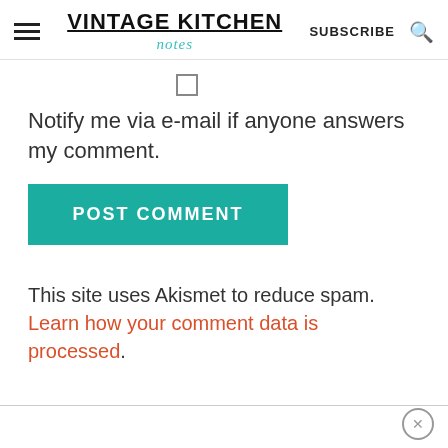VINTAGE KITCHEN | SUBSCRIBE
[Figure (other): Checkbox (unchecked) for notification option]
Notify me via e-mail if anyone answers my comment.
[Figure (other): POST COMMENT button in teal/green color]
This site uses Akismet to reduce spam. Learn how your comment data is processed.